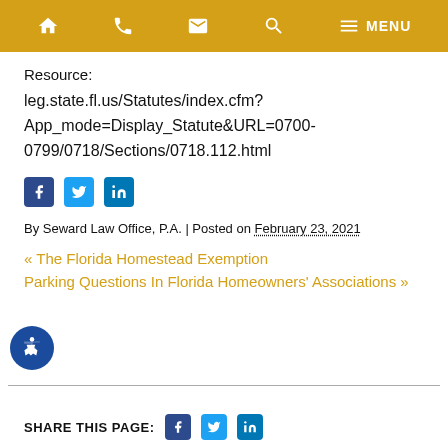Navigation bar with home, phone, email, search, and menu icons
Resource:
leg.state.fl.us/Statutes/index.cfm?App_mode=Display_Statute&URL=0700-0799/0718/Sections/0718.112.html
[Figure (other): Social share icons: Facebook, Twitter, LinkedIn]
By Seward Law Office, P.A. | Posted on February 23, 2021
« The Florida Homestead Exemption
Parking Questions In Florida Homeowners' Associations »
SHARE THIS PAGE: Facebook Twitter LinkedIn